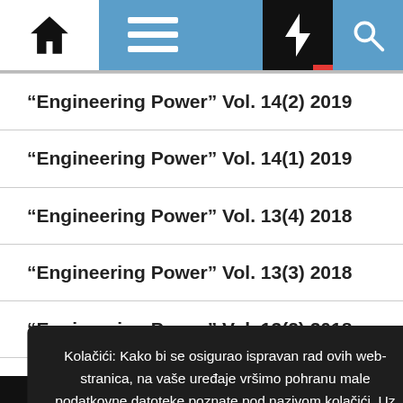[Figure (screenshot): Navigation bar with home icon, hamburger menu, lightning bolt icon, and search icon on a blue background]
“Engineering Power” Vol. 14(2) 2019
“Engineering Power” Vol. 14(1) 2019
“Engineering Power” Vol. 13(4) 2018
“Engineering Power” Vol. 13(3) 2018
“Engineering Power” Vol. 13(2) 2018
“Engineering Power” Vol. 13(1) 2018
Engineering Power Annual
Kolačići: Kako bi se osigurao ispravan rad ovih web-stranica, na vaše uređaje vršimo pohranu male podatkovne datoteke poznate pod nazivom kolačići. Uz prihvat Kolačića vaše pregledavanje stranice će se vršiti nesmetano, a u koliko ne prihvatite Kolačiće možda vam neki od sadržaja neće biti dostupni. Više informacija
Prihvaćam